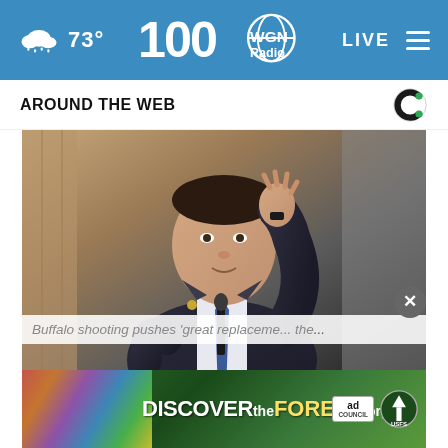73° WGN Radio 100 LIVE
AROUND THE WEB
[Figure (photo): Man in dark suit with blue tie gesturing with right hand raised, speaking at a microphone, appearing to testify or speak at a hearing. Wooden paneling visible in background.]
Buffalo shooting pushes 'great replaceme... the...
[Figure (other): DiscovertheForest.org advertisement banner with colorful nature imagery on the left, Ad Council and USDA Forest Service logos on the right.]